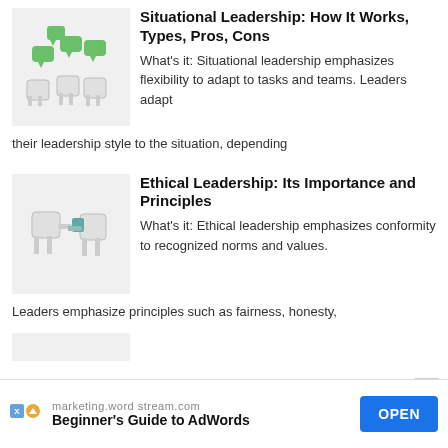[Figure (illustration): Cartoon square characters with green speech bubbles above them, on a light gray background]
Situational Leadership: How It Works, Types, Pros, Cons
What's it: Situational leadership emphasizes flexibility to adapt to tasks and teams. Leaders adapt their leadership style to the situation, depending
[Figure (illustration): Cartoon square characters appearing to shake hands or interact, on a light gray background]
Ethical Leadership: Its Importance and Principles
What's it: Ethical leadership emphasizes conformity to recognized norms and values. Leaders emphasize principles such as fairness, honesty,
[Figure (illustration): Partially visible illustration at bottom of page]
marketing.wordstream.com Beginner's Guide to AdWords OPEN